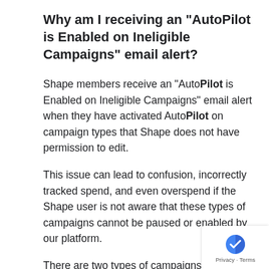Why am I receiving an "AutoPilot is Enabled on Ineligible Campaigns" email alert?
Shape members receive an "AutoPilot is Enabled on Ineligible Campaigns" email alert when they have activated AutoPilot on campaign types that Shape does not have permission to edit.
This issue can lead to confusion, incorrectly tracked spend, and even overspend if the Shape user is not aware that these types of campaigns cannot be paused or enabled by our platform.
There are two types of campaigns that Shape currently cannot pause:
Youtube Ads Campaigns